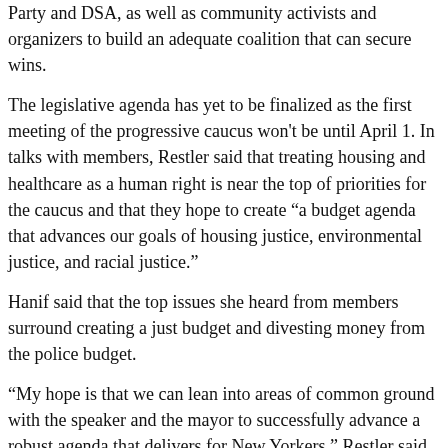Party and DSA, as well as community activists and organizers to build an adequate coalition that can secure wins.
The legislative agenda has yet to be finalized as the first meeting of the progressive caucus won't be until April 1. In talks with members, Restler said that treating housing and healthcare as a human right is near the top of priorities for the caucus and that they hope to create “a budget agenda that advances our goals of housing justice, environmental justice, and racial justice.”
Hanif said that the top issues she heard from members surround creating a just budget and divesting money from the police budget.
“My hope is that we can lean into areas of common ground with the speaker and the mayor to successfully advance a robust agenda that delivers for New Yorkers,” Restler said. “We’re independently elected council members and it’s our collective prerogative to represent the values of our districts and we are going to craft an agenda that that does just that.”